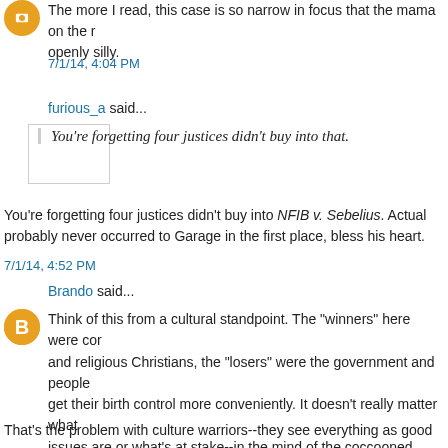The more I read, this case is so narrow in focus that the mama on the road openly silly.
7/1/14, 4:04 PM
furious_a said...
You're forgetting four justices didn't buy into that.
You're forgetting four justices didn't buy into NFIB v. Sebelius. Actually probably never occurred to Garage in the first place, bless his heart.
7/1/14, 4:52 PM
Brando said...
Think of this from a cultural standpoint. The "winners" here were corporations and religious Christians, the "losers" were the government and people who get their birth control more conveniently. It doesn't really matter what the issues are or what's at stake--in the mind of the coccooned leftist this is bad and deserves anger and scorn.
That's the problem with culture warriors--they see everything as good